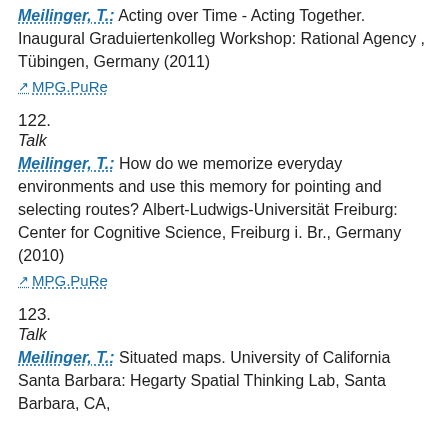Meilinger, T.: Acting over Time - Acting Together. Inaugural Graduiertenkolleg Workshop: Rational Agency , Tübingen, Germany (2011)
MPG.PuRe
122.
Talk
Meilinger, T.: How do we memorize everyday environments and use this memory for pointing and selecting routes? Albert-Ludwigs-Universität Freiburg: Center for Cognitive Science, Freiburg i. Br., Germany (2010)
MPG.PuRe
123.
Talk
Meilinger, T.: Situated maps. University of California Santa Barbara: Hegarty Spatial Thinking Lab, Santa Barbara, CA,